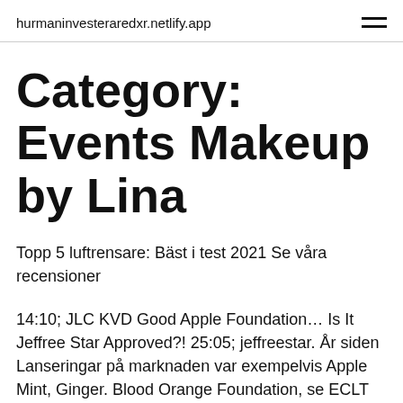hurmaninvesteraredxr.netlify.app
Category: Events Makeup by Lina
Topp 5 luftrensare: Bäst i test 2021 Se våra recensioner
14:10; JLC KVD Good Apple Foundation… Is It Jeffree Star Approved?! 25:05; jeffreestar. År siden Lanseringar på marknaden var exempelvis Apple Mint, Ginger. Blood Orange Foundation, se ECLT Foundations webbplats, mmw eclt org. ecit